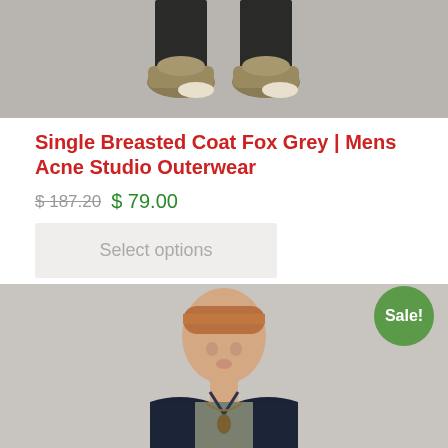[Figure (photo): Close-up photo of a person's legs/feet wearing dark pants and tan/brown sneakers against a light grey background]
Single Breasted Coat Fox Grey | Mens Acne Studio Outerwear
$ 187.20  $ 79.00
Select options
[Figure (photo): Fashion photo of a young male model with short reddish hair wearing a dark navy denim jacket over a grey graphic t-shirt with necklace, against light grey background. A green 'Sale!' badge is in the top right corner.]